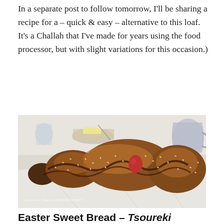In a separate post to follow tomorrow, I'll be sharing a recipe for a – quick & easy – alternative to this loaf.  It's a Challah that I've made for years using the food processor, but with slight variations for this occasion.)
[Figure (photo): A braided sweet bread (Tsoureki) covered in sesame seeds with a red egg nestled in the center braid, resting on a white linen cloth. In the background are a glass of milk, a plate with butter, and a silver pitcher.]
Easter Sweet Bread – Tsoureki